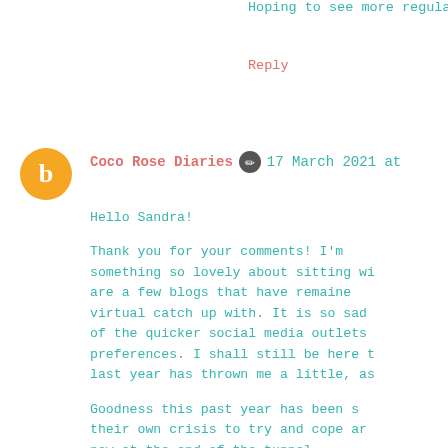Hoping to see more regular posts fro
Reply
Coco Rose Diaries ✏ 17 March 2021 at
Hello Sandra!
Thank you for your comments! I'm something so lovely about sitting wi are a few blogs that have remaine virtual catch up with. It is so sad of the quicker social media outlets preferences. I shall still be here t last year has thrown me a little, as
Goodness this past year has been s their own crisis to try and cope ar now at the end of the tunnel.
Take care xxxx